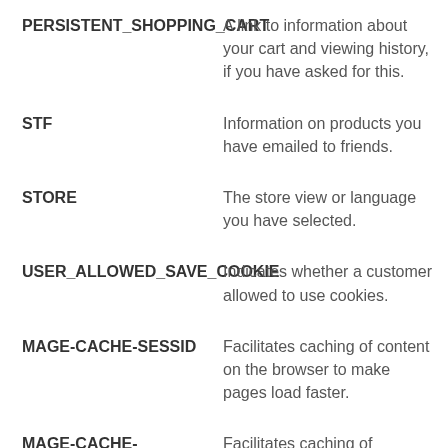| Cookie | Description |
| --- | --- |
| PERSISTENT_SHOPPING_CART | A link to information about your cart and viewing history, if you have asked for this. |
| STF | Information on products you have emailed to friends. |
| STORE | The store view or language you have selected. |
| USER_ALLOWED_SAVE_COOKIE | Indicates whether a customer allowed to use cookies. |
| MAGE-CACHE-SESSID | Facilitates caching of content on the browser to make pages load faster. |
| MAGE-CACHE-STORAGE | Facilitates caching of |